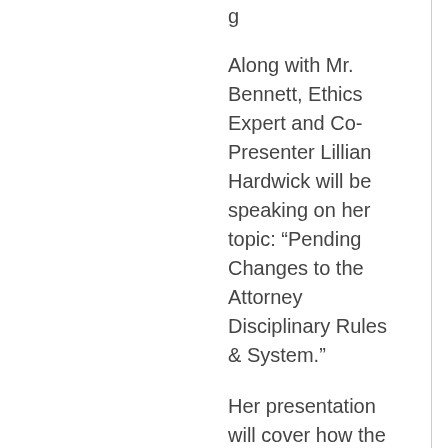g
Along with Mr. Bennett, Ethics Expert and Co-Presenter Lillian Hardwick will be speaking on her topic: “Pending Changes to the Attorney Disciplinary Rules & System.”
Her presentation will cover how the Legislature has conducted its Sunset Review of the State Bar of Texas and recommended changes to the way the attorney disciplinary rules are generated. Also covered will be the suggestions made in response to complaints from the public and grieved lawyers alike about ambiguities in how grievances are processed and how sanctions are assessed.
Paid 2017 member attendees will receive two (2) hours of free CLE credit